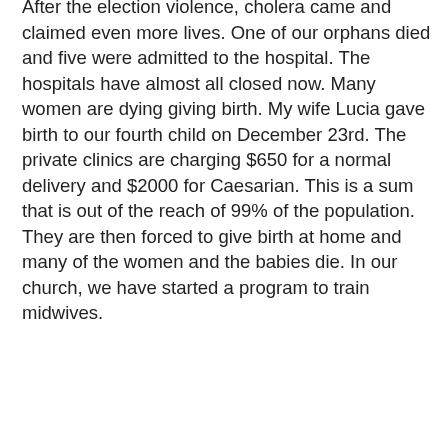After the election violence, cholera came and claimed even more lives. One of our orphans died and five were admitted to the hospital. The hospitals have almost all closed now. Many women are dying giving birth. My wife Lucia gave birth to our fourth child on December 23rd. The private clinics are charging $650 for a normal delivery and $2000 for Caesarian. This is a sum that is out of the reach of 99% of the population. They are then forced to give birth at home and many of the women and the babies die. In our church, we have started a program to train midwives.
Schools have now been closed since October. There are a few private schools open, but the cost is incredible. We are now looking for land to start our own school.
There is an acute food shortage throughout the country. Food is only available in the large towns. It is VERY expensive and only sold in US Dollars. In fact, everything in Zimbabwe is now being sold in US Dollars, however, the rural people do not have access to foreign currency, so people are forced to use counterfeit money and to sell their cattle for a pittance for a sack of grain. They are literally